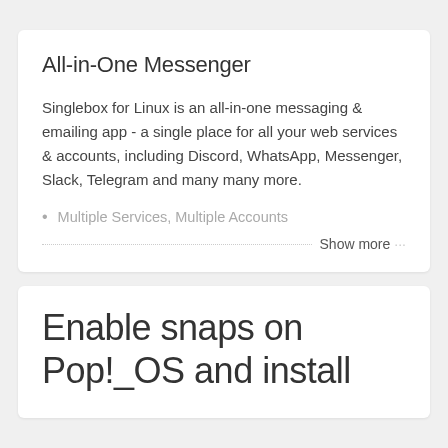All-in-One Messenger
Singlebox for Linux is an all-in-one messaging & emailing app - a single place for all your web services & accounts, including Discord, WhatsApp, Messenger, Slack, Telegram and many many more.
Multiple Services, Multiple Accounts
Show more
Enable snaps on Pop!_OS and install